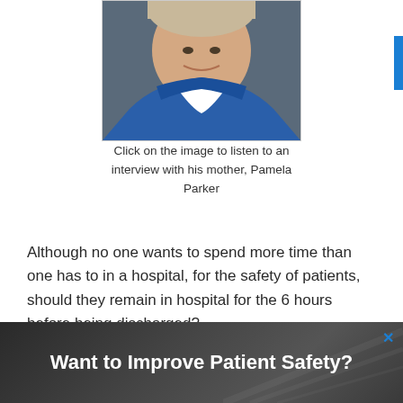[Figure (photo): Close-up photo of a young man smiling, wearing a blue sports jacket]
Click on the image to listen to an interview with his mother, Pamela Parker
Although no one wants to spend more time than one has to in a hospital, for the safety of patients, should they remain in hospital for the 6 hours before being discharged?
[Figure (screenshot): Dark banner advertisement asking 'Want to Improve Patient Safety?' with an X close button in the top right corner]